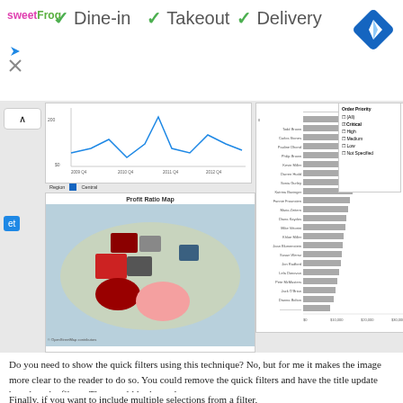[Figure (screenshot): Restaurant listing showing sweetFrog logo with checkmarks for Dine-in, Takeout, Delivery options and a navigation icon]
[Figure (screenshot): Tableau dashboard screenshot showing a line chart (Profit over time 2009-2012), a Profit Ratio Map of the US, a horizontal bar chart of sales by customer name, and an Order Priority filter panel with Critical checked]
Do you need to show the quick filters using this technique?  No, but for me it makes the image more clear to the reader to do so.  You could remove the quick filters and have the title update based on the filters.  That would look good.
Finally, if you want to include multiple selections from a filter,